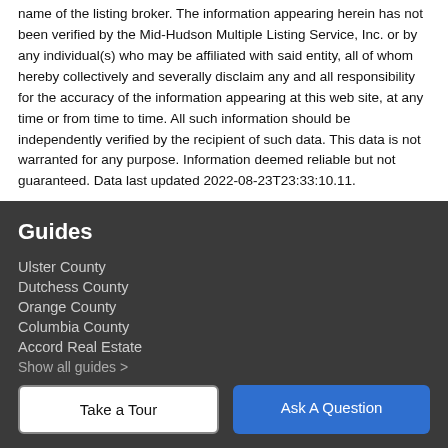name of the listing broker. The information appearing herein has not been verified by the Mid-Hudson Multiple Listing Service, Inc. or by any individual(s) who may be affiliated with said entity, all of whom hereby collectively and severally disclaim any and all responsibility for the accuracy of the information appearing at this web site, at any time or from time to time. All such information should be independently verified by the recipient of such data. This data is not warranted for any purpose. Information deemed reliable but not guaranteed. Data last updated 2022-08-23T23:33:10.11.
Guides
Ulster County
Dutchess County
Orange County
Columbia County
Accord Real Estate
Show all guides >
Take a Tour
Ask A Question